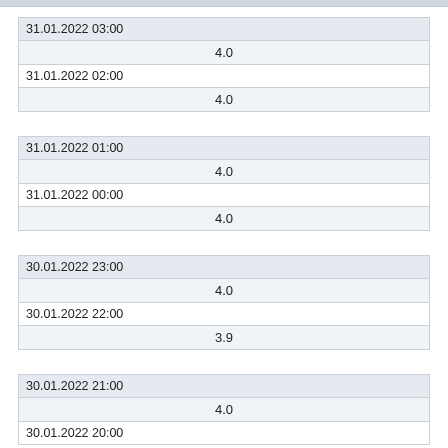| 31.01.2022 03:00 |
| 4.0 |
| 31.01.2022 02:00 |
| 4.0 |
| 31.01.2022 01:00 |
| 4.0 |
| 31.01.2022 00:00 |
| 4.0 |
| 30.01.2022 23:00 |
| 4.0 |
| 30.01.2022 22:00 |
| 3.9 |
| 30.01.2022 21:00 |
| 4.0 |
| 30.01.2022 20:00 |